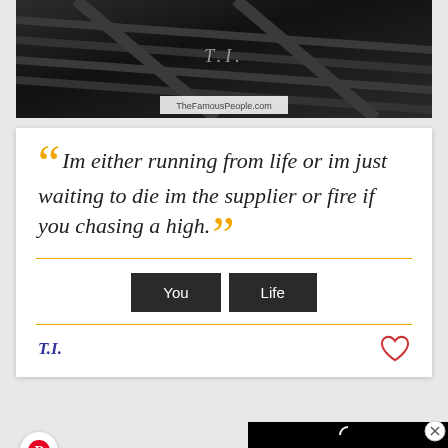[Figure (photo): Dark wooden staircase/bridge photo with 'T.I.' text and TheFamousPeople.com watermark]
Im either running from life or im just waiting to die im the supplier or fire if you chasing a high.
You   Life
T.I.